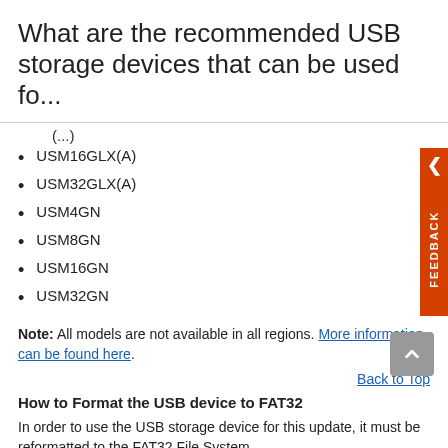What are the recommended USB storage devices that can be used fo...
USM16GLX(A)
USM32GLX(A)
USM4GN
USM8GN
USM16GN
USM32GN
Note: All models are not available in all regions. More information can be found here.
Back to Top
How to Format the USB device to FAT32
In order to use the USB storage device for this update, it must be reformatted to the FAT32 File System.
WARNING: Formatting the USB device will delete all content on